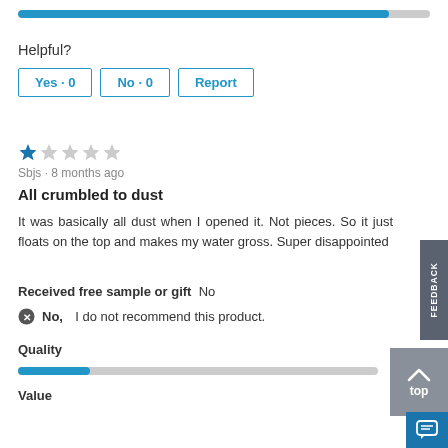[Figure (other): Blue progress/rating bar (Pet Satisfaction) nearly full]
Helpful?
Yes · 0
No · 0
Report
[Figure (other): 1 out of 5 stars rating — one filled blue star, four empty gray stars]
Sbjs · 8 months ago
All crumbled to dust
It was basically all dust when I opened it. Not pieces. So it just floats on the top and makes my water gross. Super disappointed
Received free sample or gift  No
No,  I do not recommend this product.
Quality
[Figure (other): Quality rating bar — approximately 1 out of 5 (low fill, blue on gray)]
Value